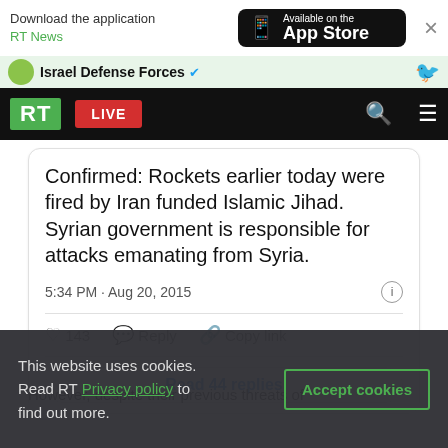[Figure (screenshot): App store download banner with RT News branding and Available on the App Store button]
[Figure (screenshot): Israel Defense Forces Twitter/X verified account strip]
[Figure (screenshot): RT news website navigation bar with green RT logo, red LIVE button, search and menu icons]
Confirmed: Rockets earlier today were fired by Iran funded Islamic Jihad. Syrian government is responsible for attacks emanating from Syria.
5:34 PM · Aug 20, 2015
143   Reply   Copy link
Read 44 replies
However, despite their previous threats of
This website uses cookies. Read RT Privacy policy to find out more.